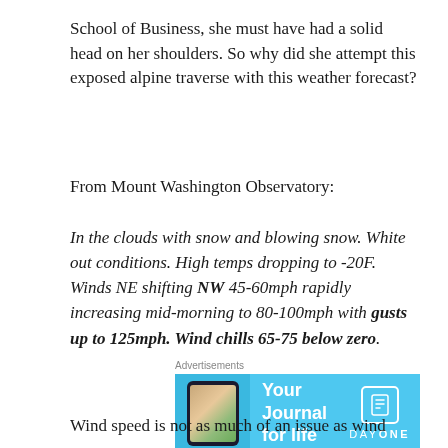School of Business, she must have had a solid head on her shoulders. So why did she attempt this exposed alpine traverse with this weather forecast?
From Mount Washington Observatory:
In the clouds with snow and blowing snow. White out conditions. High temps dropping to -20F. Winds NE shifting NW 45-60mph rapidly increasing mid-morning to 80-100mph with gusts up to 125mph. Wind chills 65-75 below zero.
[Figure (other): Advertisement banner for DayOne journal app with cyan/blue background, phone mockup on left, text 'Your Journal for life' in white, and DayOne logo/icon on right]
Wind speed is not as much of an issue as wind